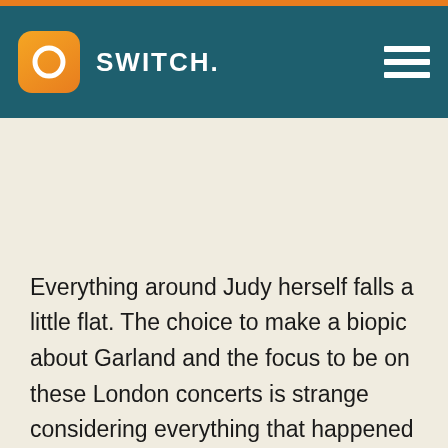SWITCH.
Everything around Judy herself falls a little flat. The choice to make a biopic about Garland and the focus to be on these London concerts is strange considering everything that happened